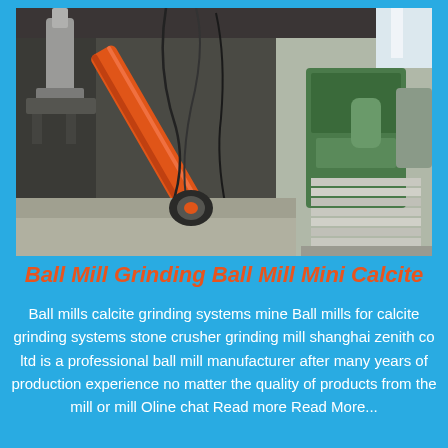[Figure (photo): Industrial machinery photo showing an orange hydraulic arm or auger mechanism inside a factory or mining facility, with heavy equipment and green machinery visible in the background.]
Ball Mill Grinding Ball Mill Mini Calcite
Ball mills calcite grinding systems mine Ball mills for calcite grinding systems stone crusher grinding mill shanghai zenith co ltd is a professional ball mill manufacturer after many years of production experience no matter the quality of products from the mill or mill Oline chat Read more Read More...